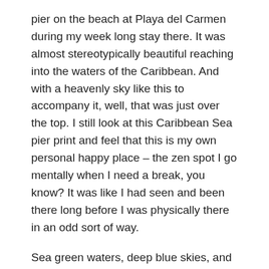pier on the beach at Playa del Carmen during my week long stay there. It was almost stereotypically beautiful reaching into the waters of the Caribbean. And with a heavenly sky like this to accompany it, well, that was just over the top. I still look at this Caribbean Sea pier print and feel that this is my own personal happy place – the zen spot I go mentally when I need a break, you know? It was like I had seen and been there long before I was physically there in an odd sort of way.
Sea green waters, deep blue skies, and a Caribbean Sea pier, this is probably most people's definition of paradise whether or not they've seen it first hand. When I was planning to spend the last of my time in Mexico on the